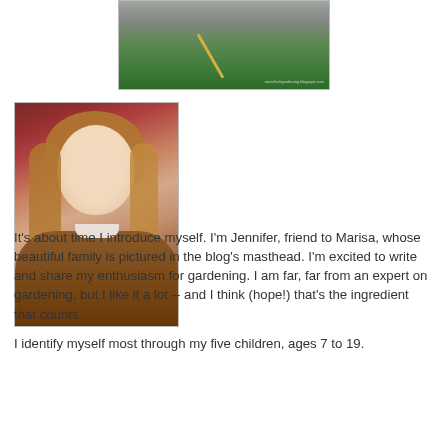[Figure (photo): Photo of a child in a green shirt holding something, with a watermark 'www.fockyardening.blogspot.com' at the bottom right]
[Figure (photo): Portrait photo of a woman with long brown hair wearing a brown jacket, smiling, standing against a red door]
It's about time I introduce myself. I'm Jennifer, friend to Marisa, whose beautiful family is pictured in the blog's masthead. I'm excited to write and share my enthusiasm for gardening. I am far, far from an expert on gardening, but I like it a lot -- and I think (hope!) that's the ingredient that counts.
I identify myself most through my five children, ages 7 to 19.